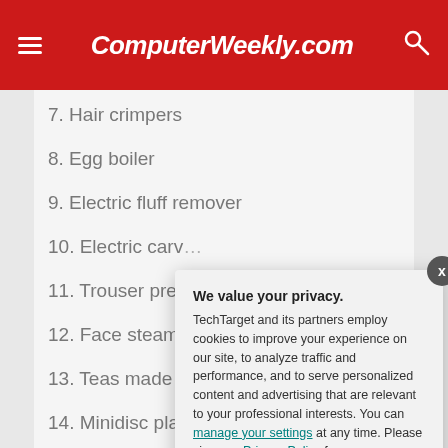ComputerWeekly.com
7. Hair crimpers
8. Egg boiler
9. Electric fluff remover
10. Electric carv...
11. Trouser pres...
12. Face steame...
13. Teas made
14. Minidisc play...
15. Facial tanne...
We value your privacy. TechTarget and its partners employ cookies to improve your experience on our site, to analyze traffic and performance, and to serve personalized content and advertising that are relevant to your professional interests. You can manage your settings at any time. Please view our Privacy Policy for more information